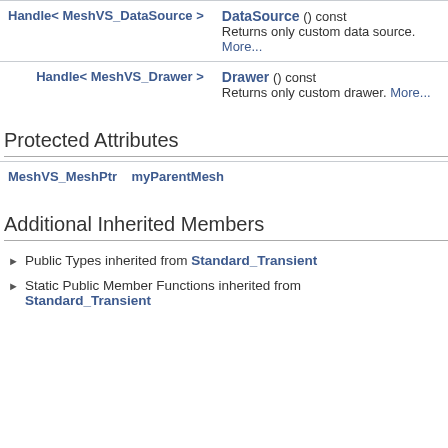| Type | Description |
| --- | --- |
| Handle< MeshVS_DataSource > | DataSource () const
Returns only custom data source. More... |
| Handle< MeshVS_Drawer > | Drawer () const
Returns only custom drawer. More... |
Protected Attributes
|  |
| --- |
| MeshVS_MeshPtr   myParentMesh |
Additional Inherited Members
Public Types inherited from Standard_Transient
Static Public Member Functions inherited from Standard_Transient